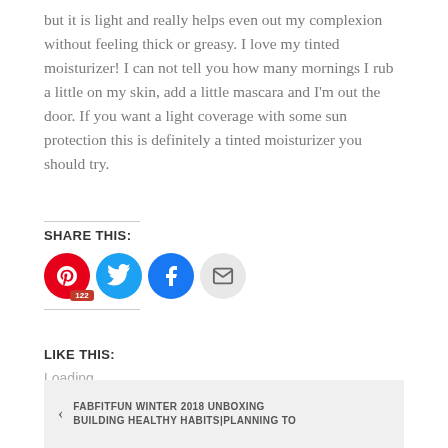but it is light and really helps even out my complexion without feeling thick or greasy. I love my tinted moisturizer! I can not tell you how many mornings I rub a little on my skin, add a little mascara and I'm out the door. If you want a light coverage with some sun protection this is definitely a tinted moisturizer you should try.
SHARE THIS:
[Figure (infographic): Four social share buttons: Pinterest (red, with badge showing 122), Twitter (light blue), Facebook (blue), and Email (gray)]
LIKE THIS:
Loading...
◄ FABFITFUN WINTER 2018 UNBOXING BUILDING HEALTHY HABITS|PLANNING TO